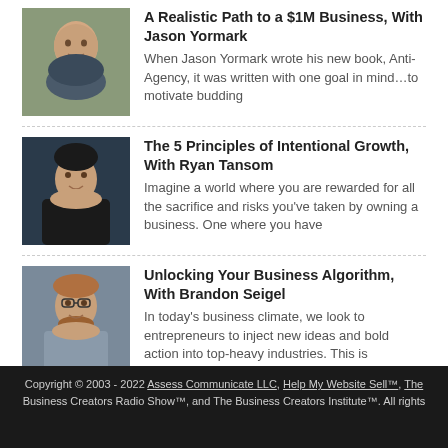[Figure (photo): Headshot of Jason Yormark, bald man smiling outdoors]
A Realistic Path to a $1M Business, With Jason Yormark
When Jason Yormark wrote his new book, Anti-Agency, it was written with one goal in mind…to motivate budding
[Figure (photo): Headshot of Ryan Tansom, dark-haired man in black jacket]
The 5 Principles of Intentional Growth, With Ryan Tansom
Imagine a world where you are rewarded for all the sacrifice and risks you've taken by owning a business. One where you have
[Figure (photo): Headshot of Brandon Seigel, man with beard and glasses]
Unlocking Your Business Algorithm, With Brandon Seigel
In today's business climate, we look to entrepreneurs to inject new ideas and bold action into top-heavy industries. This is
Join Us On Facebook!
Copyright © 2003 - 2022 Assess Communicate LLC, Help My Website Sell™, The Business Creators Radio Show™, and The Business Creators Institute™. All rights